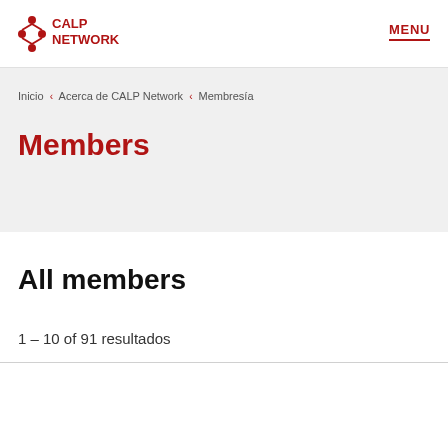CALP NETWORK | MENU
Inicio ‹ Acerca de CALP Network ‹ Membresía
Members
All members
1 – 10 of 91 resultados
We use cookies to ensure that you have the best experience on